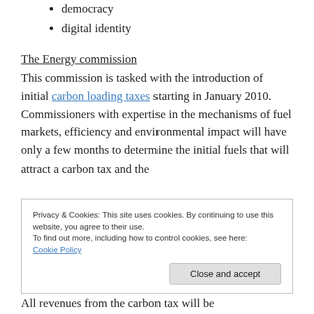democracy
digital identity
The Energy commission
This commission is tasked with the introduction of initial carbon loading taxes starting in January 2010. Commissioners with expertise in the mechanisms of fuel markets, efficiency and environmental impact will have only a few months to determine the initial fuels that will attract a carbon tax and the
Privacy & Cookies: This site uses cookies. By continuing to use this website, you agree to their use.
To find out more, including how to control cookies, see here:
Cookie Policy
Close and accept
All revenues from the carbon tax will be